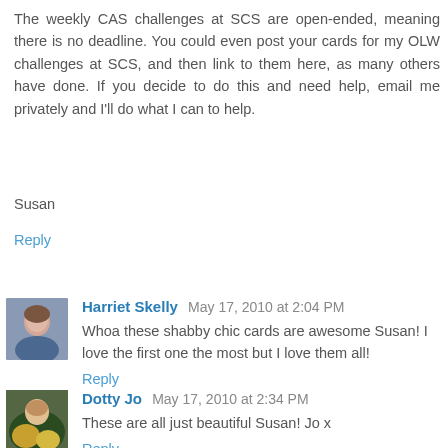The weekly CAS challenges at SCS are open-ended, meaning there is no deadline. You could even post your cards for my OLW challenges at SCS, and then link to them here, as many others have done. If you decide to do this and need help, email me privately and I'll do what I can to help.
Susan
Reply
[Figure (photo): Avatar photo of Harriet Skelly]
Harriet Skelly May 17, 2010 at 2:04 PM
Whoa these shabby chic cards are awesome Susan! I love the first one the most but I love them all!
Reply
[Figure (photo): Avatar photo of Dotty Jo]
Dotty Jo May 17, 2010 at 2:34 PM
These are all just beautiful Susan! Jo x
Reply